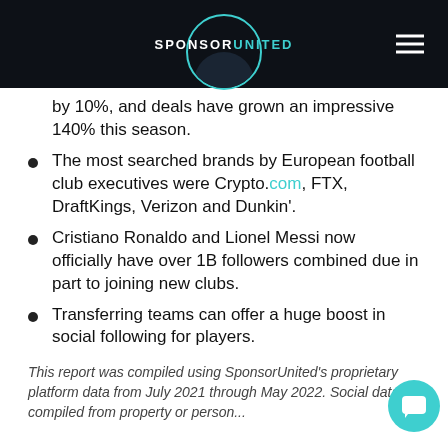SPONSORUNITED
by 10%, and deals have grown an impressive 140% this season.
The most searched brands by European football club executives were Crypto.com, FTX, DraftKings, Verizon and Dunkin'.
Cristiano Ronaldo and Lionel Messi now officially have over 1B followers combined due in part to joining new clubs.
Transferring teams can offer a huge boost in social following for players.
This report was compiled using SponsorUnited's proprietary platform data from July 2021 through May 2022. Social data compiled from property or person...